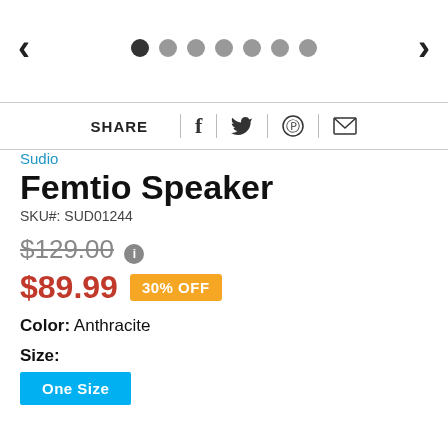[Figure (other): Navigation arrows and pagination dots for image carousel. Left chevron arrow on left, seven dots (first filled dark, rest gray), right chevron arrow on right.]
SHARE | f | bird icon | pinterest icon | mail icon
Sudio
Femtio Speaker
SKU#: SUD01244
$129.00
$89.99  30% OFF
Color: Anthracite
Size:
One Size